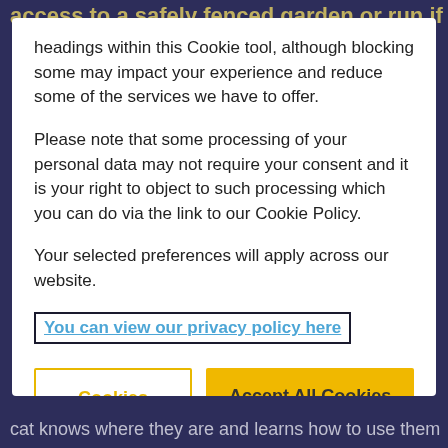access to a safely fenced garden or run if necessary.
headings within this Cookie tool, although blocking some may impact your experience and reduce some of the services we have to offer.
Please note that some processing of your personal data may not require your consent and it is your right to object to such processing which you can do via the link to our Cookie Policy.
Your selected preferences will apply across our website.
You can view our privacy policy here
Cookies Settings
Accept All Cookies
cat knows where they are and learns how to use them